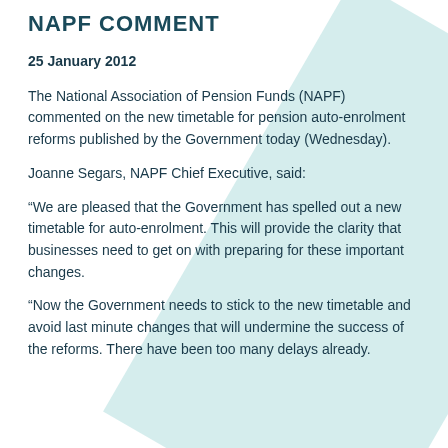NAPF COMMENT
25 January 2012
The National Association of Pension Funds (NAPF) commented on the new timetable for pension auto-enrolment reforms published by the Government today (Wednesday).
Joanne Segars, NAPF Chief Executive, said:
“We are pleased that the Government has spelled out a new timetable for auto-enrolment. This will provide the clarity that businesses need to get on with preparing for these important changes.
“Now the Government needs to stick to the new timetable and avoid last minute changes that will undermine the success of the reforms. There have been too many delays already.